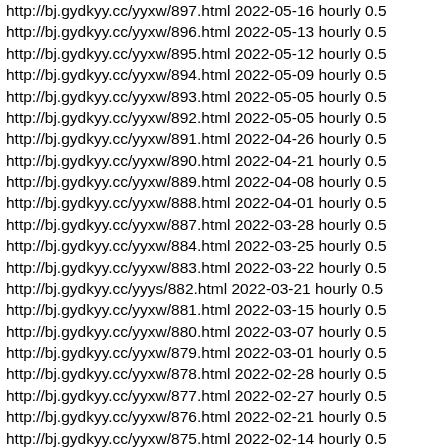http://bj.gydkyy.cc/yyxw/897.html 2022-05-16 hourly 0.5
http://bj.gydkyy.cc/yyxw/896.html 2022-05-13 hourly 0.5
http://bj.gydkyy.cc/yyxw/895.html 2022-05-12 hourly 0.5
http://bj.gydkyy.cc/yyxw/894.html 2022-05-09 hourly 0.5
http://bj.gydkyy.cc/yyxw/893.html 2022-05-05 hourly 0.5
http://bj.gydkyy.cc/yyxw/892.html 2022-05-05 hourly 0.5
http://bj.gydkyy.cc/yyxw/891.html 2022-04-26 hourly 0.5
http://bj.gydkyy.cc/yyxw/890.html 2022-04-21 hourly 0.5
http://bj.gydkyy.cc/yyxw/889.html 2022-04-08 hourly 0.5
http://bj.gydkyy.cc/yyxw/888.html 2022-04-01 hourly 0.5
http://bj.gydkyy.cc/yyxw/887.html 2022-03-28 hourly 0.5
http://bj.gydkyy.cc/yyxw/884.html 2022-03-25 hourly 0.5
http://bj.gydkyy.cc/yyxw/883.html 2022-03-22 hourly 0.5
http://bj.gydkyy.cc/yyys/882.html 2022-03-21 hourly 0.5
http://bj.gydkyy.cc/yyxw/881.html 2022-03-15 hourly 0.5
http://bj.gydkyy.cc/yyxw/880.html 2022-03-07 hourly 0.5
http://bj.gydkyy.cc/yyxw/879.html 2022-03-01 hourly 0.5
http://bj.gydkyy.cc/yyxw/878.html 2022-02-28 hourly 0.5
http://bj.gydkyy.cc/yyxw/877.html 2022-02-27 hourly 0.5
http://bj.gydkyy.cc/yyxw/876.html 2022-02-21 hourly 0.5
http://bj.gydkyy.cc/yyxw/875.html 2022-02-14 hourly 0.5
http://bj.gydkyy.cc/yyxw/874.html 2022-02-14 hourly 0.5
http://bj.gydkyy.cc/yyxw/873.html 2022-01-27 hourly 0.5
http://bj.gydkyy.cc/yyxw/872.html 2022-01-18 hourly 0.5
http://bj.gydkyy.cc/yyxw/871.html 2022-01-17 hourly 0.5
http://bj.gydkyy.cc/yyxw/870.html 2022-01-18 hourly 0.5